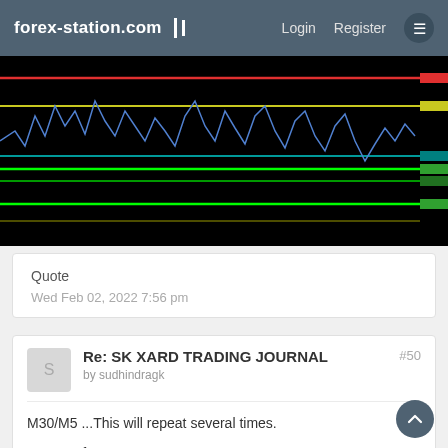forex-station.com  Login  Register
[Figure (screenshot): Forex trading chart (candlestick/line chart) on black background with horizontal support/resistance lines in red, yellow, green, and cyan colors.]
Quote
Wed Feb 02, 2022 7:56 pm
Re: SK XARD TRADING JOURNAL
by sudhindragk
#50
M30/M5 ...This will repeat several times.
Beauty of XARD system.